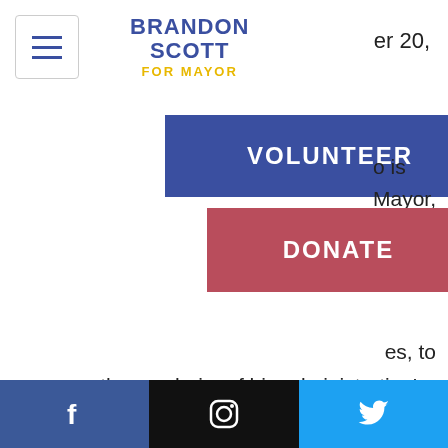Brandon Scott For Mayor
er 20,
[Figure (screenshot): VOLUNTEER button (blue/navy background, white bold uppercase text)]
[Figure (screenshot): DONATE button (red/rose background, white bold uppercase text)]
o is
Mayor,
roup
g
es, to
serve as the co-chairs of his administration's transition team.
"Building a new way forward for Baltimore will require us to come together like never before and advance innovative solutions to our deepest challenges," said Brandon Scott. "These nine people,
Facebook | Instagram | Twitter social media links